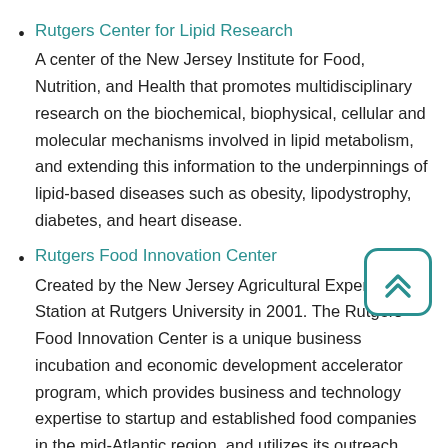Rutgers Center for Lipid Research
A center of the New Jersey Institute for Food, Nutrition, and Health that promotes multidisciplinary research on the biochemical, biophysical, cellular and molecular mechanisms involved in lipid metabolism, and extending this information to the underpinnings of lipid-based diseases such as obesity, lipodystrophy, diabetes, and heart disease.
Rutgers Food Innovation Center
Created by the New Jersey Agricultural Experiment Station at Rutgers University in 2001. The Rutgers Food Innovation Center is a unique business incubation and economic development accelerator program, which provides business and technology expertise to startup and established food companies in the mid-Atlantic region, and utilizes its outreach capacity to reach food and